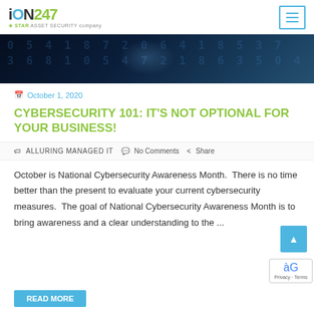iON247 – A STAR ASSET SECURITY company
[Figure (photo): Dark blue banner with glowing numbers and digits, representing cybersecurity/digital theme]
October 1, 2020
CYBERSECURITY 101: IT'S NOT OPTIONAL FOR YOUR BUSINESS!
ALLURING MANAGED IT   No Comments   Share
October is National Cybersecurity Awareness Month. There is no time better than the present to evaluate your current cybersecurity measures.  The goal of National Cybersecurity Awareness Month is to bring awareness and a clear understanding to the ...